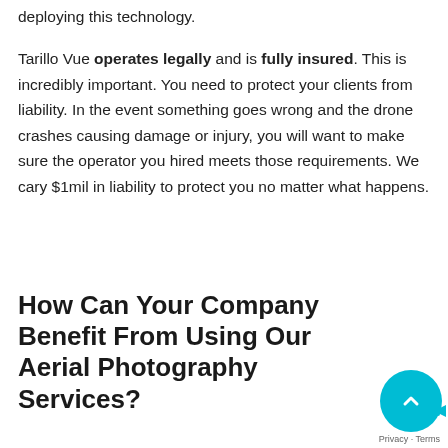deploying this technology.
Tarillo Vue operates legally and is fully insured. This is incredibly important. You need to protect your clients from liability. In the event something goes wrong and the drone crashes causing damage or injury, you will want to make sure the operator you hired meets those requirements. We cary $1mil in liability to protect you no matter what happens.
How Can Your Company Benefit From Using Our Aerial Photography Services?